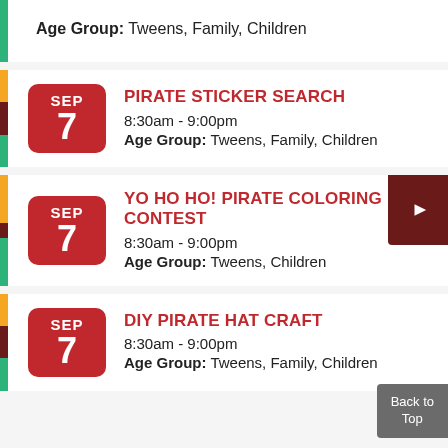Age Group: Tweens, Family, Children
PIRATE STICKER SEARCH
8:30am - 9:00pm
Age Group: Tweens, Family, Children
YO HO HO! PIRATE COLORING CONTEST
8:30am - 9:00pm
Age Group: Tweens, Children
DIY PIRATE HAT CRAFT
8:30am - 9:00pm
Age Group: Tweens, Family, Children